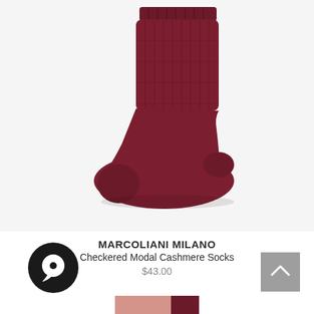[Figure (photo): A dark burgundy/wine-colored ribbed knit sock on a light gray background. The sock is shown flat, toe pointing right, ankle/cuff visible at top.]
MARCOLIANI MILANO
Checkered Modal Cashmere Socks
$43.00
[Figure (logo): Round black chat/messenger icon button with a white speech bubble and dot, bottom-left corner]
[Figure (other): Gray square scroll-to-top button with an upward chevron arrow, bottom-right corner]
[Figure (photo): Partially visible second product at the bottom of the page — appears to be a pink/blush colored item with dark maroon stripe, likely another pair of socks]